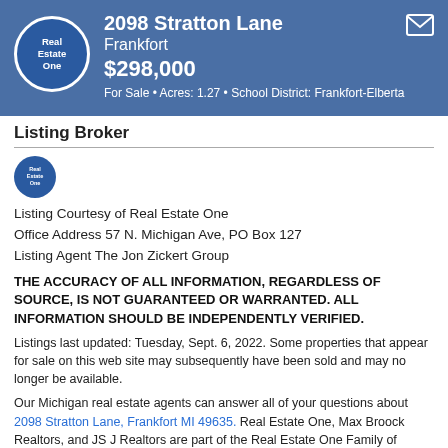2098 Stratton Lane
Frankfort
$298,000
For Sale • Acres: 1.27 • School District: Frankfort-Elberta
Listing Broker
[Figure (logo): Real Estate One circular logo — white circle with blue background, text 'Real Estate One']
Listing Courtesy of Real Estate One
Office Address 57 N. Michigan Ave, PO Box 127
Listing Agent The Jon Zickert Group
THE ACCURACY OF ALL INFORMATION, REGARDLESS OF SOURCE, IS NOT GUARANTEED OR WARRANTED. ALL INFORMATION SHOULD BE INDEPENDENTLY VERIFIED.
Listings last updated: Tuesday, Sept. 6, 2022. Some properties that appear for sale on this web site may subsequently have been sold and may no longer be available.
Our Michigan real estate agents can answer all of your questions about 2098 Stratton Lane, Frankfort MI 49635. Real Estate One, Max Broock Realtors, and JS J Realtors are part of the Real Estate One Family of